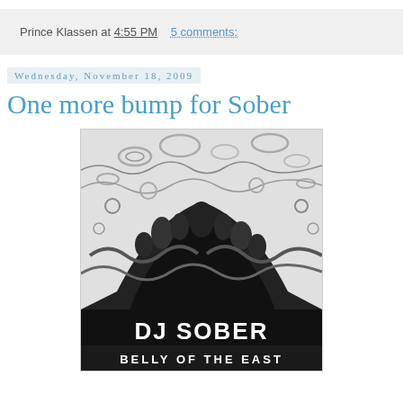Prince Klassen at 4:55 PM    5 comments:
Wednesday, November 18, 2009
One more bump for Sober
[Figure (illustration): Album art for DJ Sober - Belly of the East. Black and white psychedelic illustration with swirling organic shapes, bubbles, and abstract figures. Text at bottom reads 'DJ SOBER' in large letters and 'BELLY OF THE EAST' below.]